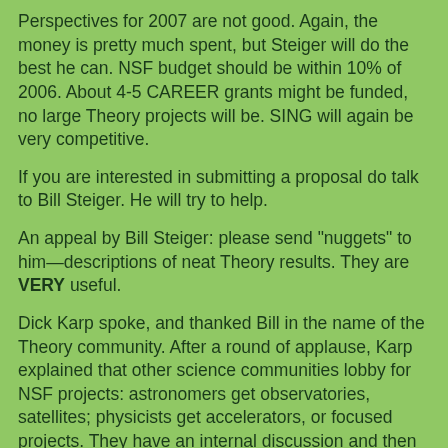Perspectives for 2007 are not good. Again, the money is pretty much spent, but Steiger will do the best he can. NSF budget should be within 10% of 2006. About 4-5 CAREER grants might be funded, no large Theory projects will be. SING will again be very competitive.
If you are interested in submitting a proposal do talk to Bill Steiger. He will try to help.
An appeal by Bill Steiger: please send "nuggets" to him—descriptions of neat Theory results. They are VERY useful.
Dick Karp spoke, and thanked Bill in the name of the Theory community. After a round of applause, Karp explained that other science communities lobby for NSF projects: astronomers get observatories, satellites; physicists get accelerators, or focused projects. They have an internal discussion and then lobby lawmakers and NSF. CS, in particular Theory, should do likewise.
He appealed for mobilizing the community. NSF wants CS to suggest visionary activities, and CRA got a few millions to